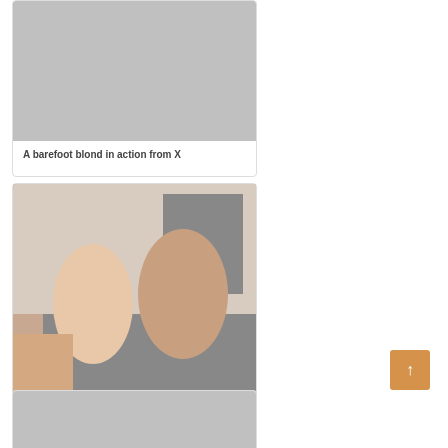[Figure (photo): Card with grey image placeholder at top]
A barefoot blond in action from X
[Figure (photo): Photo of two women and a man in a bedroom scene]
Alli Rae and Molly Jane In Sex Toys Nubiles Porn
[Figure (photo): Card with grey image placeholder at bottom]